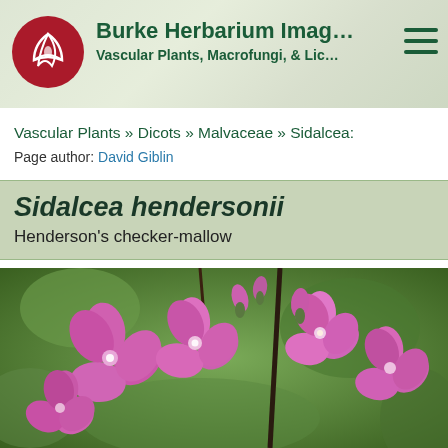Burke Herbarium Imag... Vascular Plants, Macrofungi, & Lic...
Vascular Plants » Dicots » Malvaceae » Sidalcea:
Page author: David Giblin
Sidalcea hendersonii
Henderson's checker-mallow
[Figure (photo): Close-up photograph of Sidalcea hendersonii (Henderson's checker-mallow) showing clusters of bright pink/magenta flowers with five petals each, against a blurred green background.]